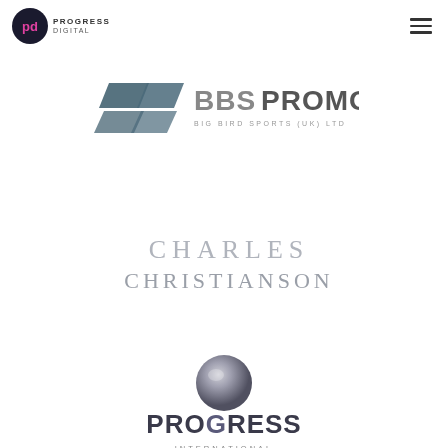[Figure (logo): Progress Digital logo - circular emblem with 'pd' initials in pink/purple on dark background, with text PROGRESS DIGITAL to the right]
[Figure (logo): BBS Promo logo - stylized double-B wing emblem in dark teal/grey, bold BBSPROMO text, subtitle BIG BIRD SPORTS (UK) LTD]
[Figure (logo): Charles Christianson logo - large spaced grey serif/sans uppercase text CHARLES CHRISTIANSON]
[Figure (logo): Progress International logo - grey 3D sphere above bold PROGRESS text with INTERNATIONAL below, partially cropped]